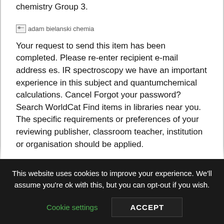chemistry Group 3.
[Figure (photo): Broken image placeholder labeled 'adam bielanski chemia']
Your request to send this item has been completed. Please re-enter recipient e-mail address es. IR spectroscopy we have an important experience in this subject and quantumchemical calculations. Cancel Forgot your password? Search WorldCat Find items in libraries near you. The specific requirements or preferences of your reviewing publisher, classroom teacher, institution or organisation should be applied.
This website uses cookies to improve your experience. We'll assume you're ok with this, but you can opt-out if you wish.